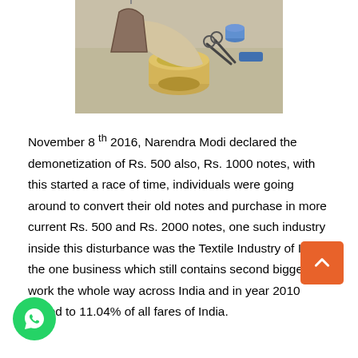[Figure (photo): Sewing and textile items including thread spools, fabric, hangers, and scissors on a light background]
November 8 th 2016, Narendra Modi declared the demonetization of Rs. 500 also, Rs. 1000 notes, with this started a race of time, individuals were going around to convert their old notes and purchase in more current Rs. 500 and Rs. 2000 notes, one such industry inside this disturbance was the Textile Industry of India, the one business which still contains second biggest work the whole way across India and in year 2010 added to 11.04% of all fares of India.